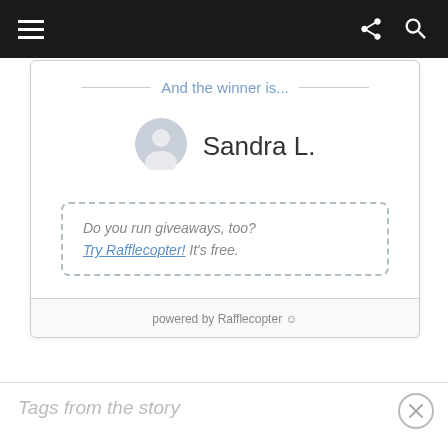[Figure (screenshot): Navigation bar with hamburger menu on left, share and search icons on right, dark background]
And the winner is...
[Figure (illustration): User avatar icon (grey silhouette)]
Sandra L.
Do you run giveaways, too? Try Rafflecopter! It's free.
powered by Rafflecopter
Tags from the story